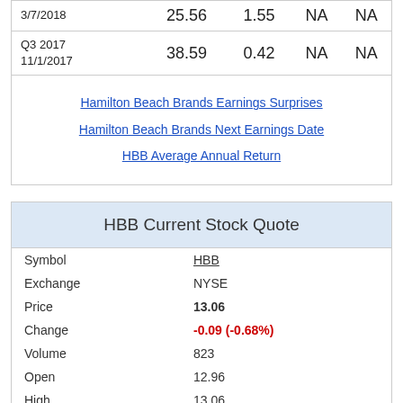|  |  |  | NA | NA |
| --- | --- | --- | --- | --- |
| 3/7/2018 | 25.56 | 1.55 | NA | NA |
| Q3 2017
11/1/2017 | 38.59 | 0.42 | NA | NA |
Hamilton Beach Brands Earnings Surprises
Hamilton Beach Brands Next Earnings Date
HBB Average Annual Return
HBB Current Stock Quote
| Field | Value |
| --- | --- |
| Symbol | HBB |
| Exchange | NYSE |
| Price | 13.06 |
| Change | -0.09 (-0.68%) |
| Volume | 823 |
| Open | 12.96 |
| High | 13.06 |
| Low | 12.825 |
| Prev. Close | 13.15 |
| Shares Out | 9.99M |
| Market Cap | 130.51M |
| Div Yield | 3.22 |